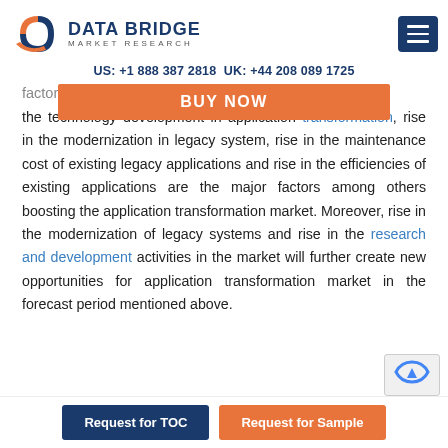DATA BRIDGE MARKET RESEARCH
US: +1 888 387 2818 UK: +44 208 089 1725
factor accelerating the market growth; also increase in the technology development in application transformation, rise in the modernization in legacy system, rise in the maintenance cost of existing legacy applications and rise in the efficiencies of existing applications are the major factors among others boosting the application transformation market. Moreover, rise in the modernization of legacy systems and rise in the research and development activities in the market will further create new opportunities for application transformation market in the forecast period mentioned above.
[Figure (other): BUY NOW orange overlay button]
[Figure (other): reCAPTCHA widget bottom right]
Request for TOC | Request for Sample